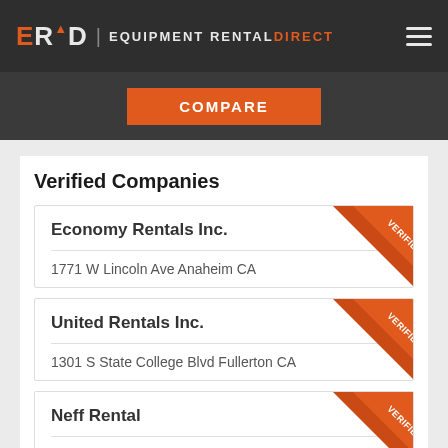ERD | EQUIPMENT RENTAL DIRECT
[Figure (screenshot): Compare button bar with orange COMPARE button on dark background]
Verified Companies
Economy Rentals Inc. — 1771 W Lincoln Ave Anaheim CA — VERIFIED
United Rentals Inc. — 1301 S State College Blvd Fullerton CA — VERIFIED
Neff Rental — 1354 N Red Gum St Anaheim CA — VERIFIED